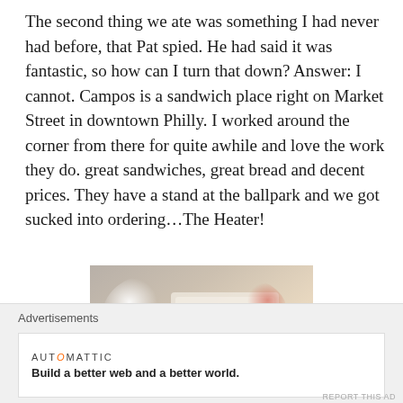The second thing we ate was something I had never had before, that Pat spied. He had said it was fantastic, so how can I turn that down? Answer: I cannot. Campos is a sandwich place right on Market Street in downtown Philly. I worked around the corner from there for quite awhile and love the work they do. great sandwiches, great bread and decent prices. They have a stand at the ballpark and we got sucked into ordering…The Heater!
[Figure (photo): Close-up photo of a sandwich wrapped in paper with red branding/text, alongside white plates and food items on a table.]
Advertisements
AUTOMATTIC — Build a better web and a better world.